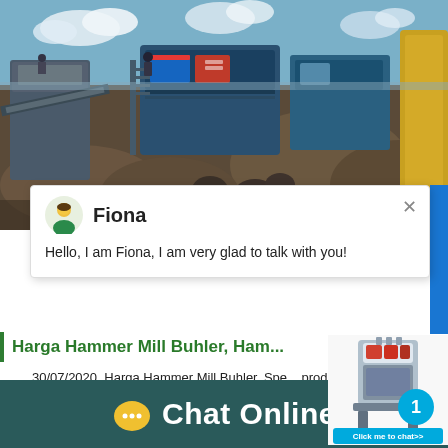[Figure (photo): Outdoor mining/construction site with heavy crushing equipment, excavators, and machinery on a dirt landscape with blue sky and clouds.]
Fiona
Hello, I am Fiona, I am very glad to talk with you!
Harga Hammer Mill Buhler, Ham...
30/07/2020  Harga Hammer Mill Buhler. Spe... production of jaw crusher, sand machine, bal...
[Figure (photo): Industrial crusher machine widget with blue badge showing number 1 and Click me to chat>> button]
Chat Online